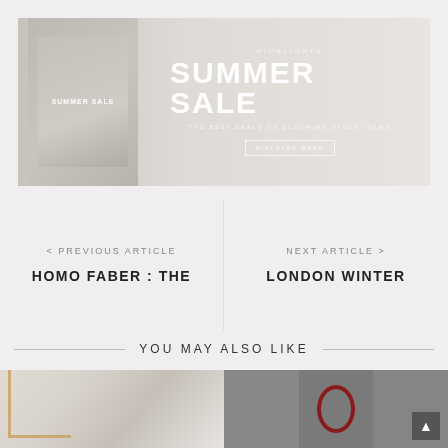[Figure (photo): Summer Sale promotional banner with interior design image and catalog book]
< PREVIOUS ARTICLE
HOMO FABER : THE
NEXT ARTICLE >
LONDON WINTER
YOU MAY ALSO LIKE
[Figure (photo): Interior product image on left side]
[Figure (photo): Interior decor images on right side with mirror and decorative elements]